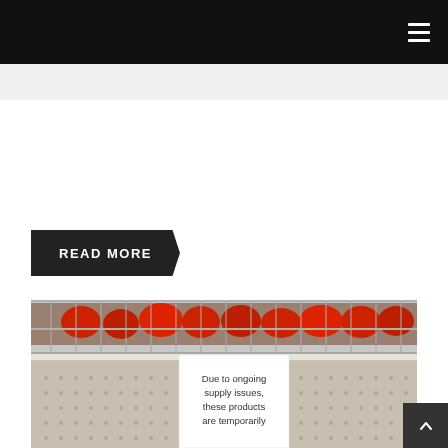READ MORE
[Figure (photo): Store shelf photo showing empty shelves with a sign reading 'Due to ongoing supply issues, these products are temporarily' and red products visible on the top shelf behind wire rack]